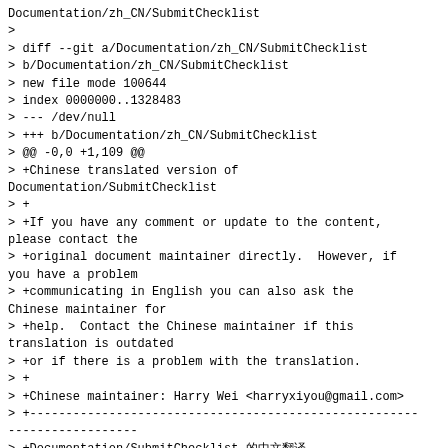Documentation/zh_CN/SubmitChecklist
>
> diff --git a/Documentation/zh_CN/SubmitChecklist
> b/Documentation/zh_CN/SubmitChecklist
> new file mode 100644
> index 0000000..1328483
> --- /dev/null
> +++ b/Documentation/zh_CN/SubmitChecklist
> @@ -0,0 +1,109 @@
> +Chinese translated version of Documentation/SubmitChecklist
> +
> +If you have any comment or update to the content, please contact the
> +original document maintainer directly.  However, if you have a problem
> +communicating in English you can also ask the Chinese maintainer for
> +help.  Contact the Chinese maintainer if this translation is outdated
> +or if there is a problem with the translation.
> +
> +Chinese maintainer: Harry Wei <harryxiyou@gmail.com>
> +------------------------------------------------------------------
------------------
> +Documentation/SubmitChecklist 的中文翻译
> +
> +如果您有任何意见或者更新，请联系原文档的维护者
> +如果有翻译上的问题或者建议，请联系中文版维护者
> +如果您有任何翻译问题请